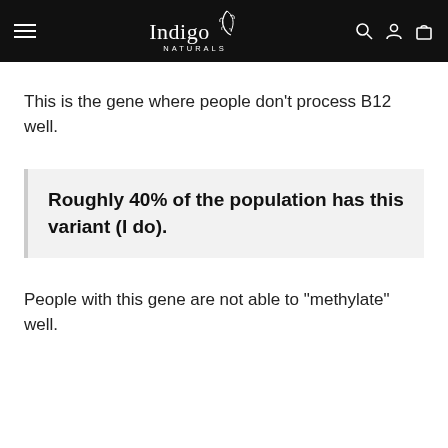Indigo Naturals
This is the gene where people don't process B12 well.
Roughly 40% of the population has this variant (I do).
People with this gene are not able to "methylate" well.